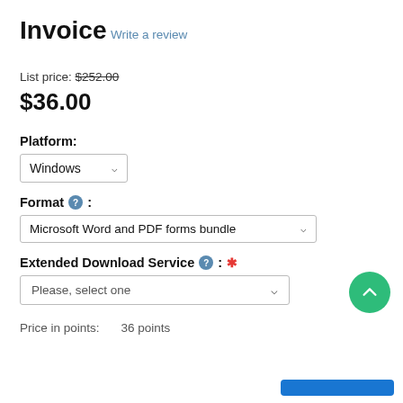Invoice
Write a review
List price: $252.00
$36.00
Platform:
Windows
Format :
Microsoft Word and PDF forms bundle
Extended Download Service : *
Please, select one
Price in points:    36 points